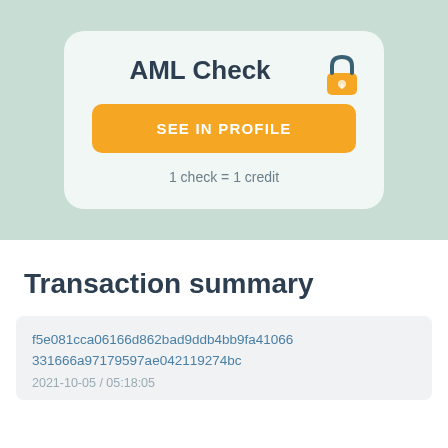AML Check
[Figure (infographic): Orange lock icon in top-right of card]
SEE IN PROFILE
1 check = 1 credit
Transaction summary
f5e081cca06166d862bad9ddb4bb9fa41066331666a97179597ae042119274bc
2021-10-05 / 05:18:05